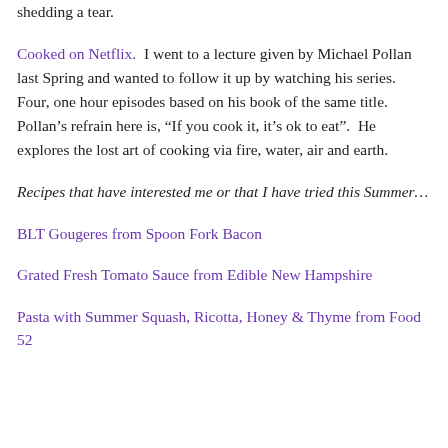shedding a tear.
Cooked on Netflix.  I went to a lecture given by Michael Pollan last Spring and wanted to follow it up by watching his series.  Four, one hour episodes based on his book of the same title.  Pollan’s refrain here is, “If you cook it, it’s ok to eat”.  He explores the lost art of cooking via fire, water, air and earth.
Recipes that have interested me or that I have tried this Summer…
BLT Gougeres from Spoon Fork Bacon
Grated Fresh Tomato Sauce from Edible New Hampshire
Pasta with Summer Squash, Ricotta, Honey & Thyme from Food 52